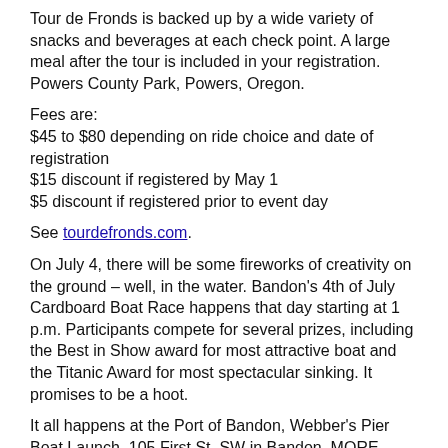Tour de Fronds is backed up by a wide variety of snacks and beverages at each check point. A large meal after the tour is included in your registration. Powers County Park, Powers, Oregon.
Fees are:
$45 to $80 depending on ride choice and date of registration
$15 discount if registered by May 1
$5 discount if registered prior to event day
See tourdefronds.com.
On July 4, there will be some fireworks of creativity on the ground – well, in the water. Bandon's 4th of July Cardboard Boat Race happens that day starting at 1 p.m. Participants compete for several prizes, including the Best in Show award for most attractive boat and the Titanic Award for most spectacular sinking. It promises to be a hoot.
It all happens at the Port of Bandon, Webber's Pier Boat Launch, 105 First St. SW in Bandon. MORE BANDON BELOW